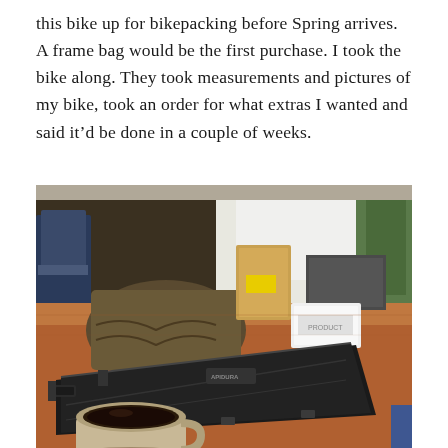this bike up for bikepacking before Spring arrives. A frame bag would be the first purchase. I took the bike along. They took measurements and pictures of my bike, took an order for what extras I wanted and said it'd be done in a couple of weeks.
[Figure (photo): A black bicycle frame bag lying on a wooden table in a cafe. A white cup of black coffee sits in the foreground. In the background are chairs, a covered bicycle, shelving with items, and a window showing a snowy or bright exterior. A small white box is also on the table.]